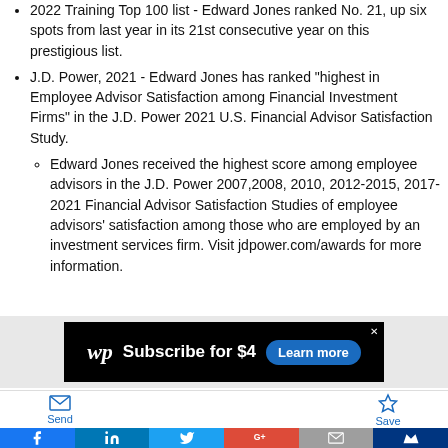2022 Training Top 100 list - Edward Jones ranked No. 21, up six spots from last year in its 21st consecutive year on this prestigious list.
J.D. Power, 2021 - Edward Jones has ranked "highest in Employee Advisor Satisfaction among Financial Investment Firms" in the J.D. Power 2021 U.S. Financial Advisor Satisfaction Study.
Edward Jones received the highest score among employee advisors in the J.D. Power 2007,2008, 2010, 2012-2015, 2017-2021 Financial Advisor Satisfaction Studies of employee advisors' satisfaction among those who are employed by an investment services firm. Visit jdpower.com/awards for more information.
[Figure (infographic): Washington Post advertisement banner: 'wp Subscribe for $4 Learn more' on black background with close button]
[Figure (infographic): Send and Save action buttons bar with envelope and star icons in blue]
[Figure (infographic): Social media sharing bar with Facebook, LinkedIn, Twitter, Google+, Email, and Mileage Plus icons]